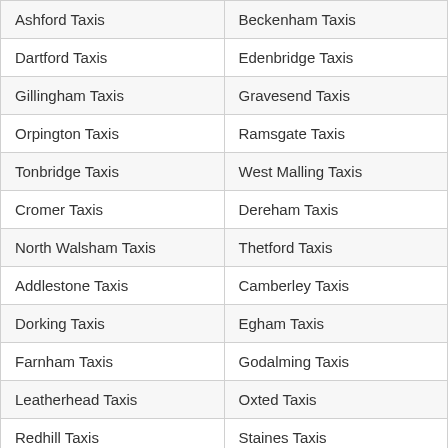| Ashford Taxis | Beckenham Taxis |
| Dartford Taxis | Edenbridge Taxis |
| Gillingham Taxis | Gravesend Taxis |
| Orpington Taxis | Ramsgate Taxis |
| Tonbridge Taxis | West Malling Taxis |
| Cromer Taxis | Dereham Taxis |
| North Walsham Taxis | Thetford Taxis |
| Addlestone Taxis | Camberley Taxis |
| Dorking Taxis | Egham Taxis |
| Farnham Taxis | Godalming Taxis |
| Leatherhead Taxis | Oxted Taxis |
| Redhill Taxis | Staines Taxis |